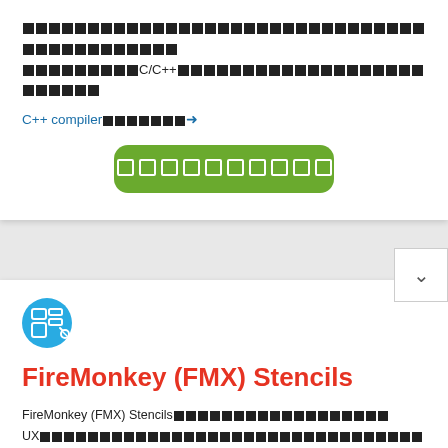□□□□□□□□□□□□□□□□□□□□□□□□□□□□□□□□□□□□□□□□□□□□□□□□□□□□□□□C/C++□□□□□□□□□□□□□□□□□□□□□
C++ compiler□□□□□□□□→
[Figure (other): Green rounded button with white square placeholder icons inside]
[Figure (other): Chevron down icon in a bordered box]
[Figure (illustration): FireMonkey FMX icon - circular blue icon with UI layout stencils]
FireMonkey (FMX) Stencils
FireMonkey (FMX) Stencils□□□□□□□□□□□□□□□□□□□□□UX□□□□□□□□□□□□□□□□□□□□□□□□□□□□□□□□□□□□□□□□□□FMX Stencils□□Balsamiq□Sketch□Photoshop□